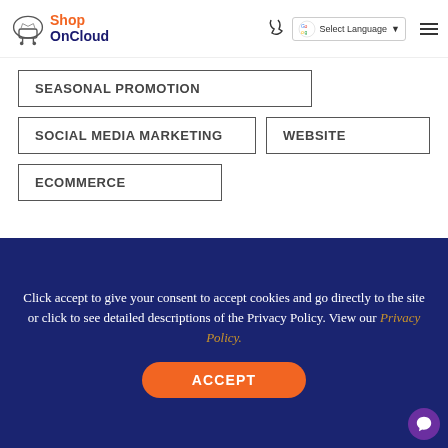ShopOnCloud - logo and navigation header with phone, language selector, and menu
SEASONAL PROMOTION
SOCIAL MEDIA MARKETING
WEBSITE
ECOMMERCE
Click accept to give your consent to accept cookies and go directly to the site or click to see detailed descriptions of the Privacy Policy. View our Privacy Policy.
ACCEPT